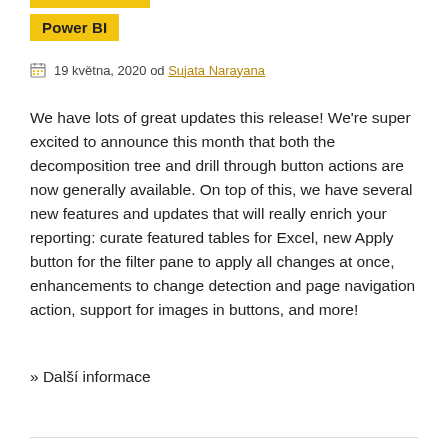Power BI
19 května, 2020 od Sujata Narayana
We have lots of great updates this release! We're super excited to announce this month that both the decomposition tree and drill through button actions are now generally available. On top of this, we have several new features and updates that will really enrich your reporting: curate featured tables for Excel, new Apply button for the filter pane to apply all changes at once, enhancements to change detection and page navigation action, support for images in buttons, and more!
» Další informace